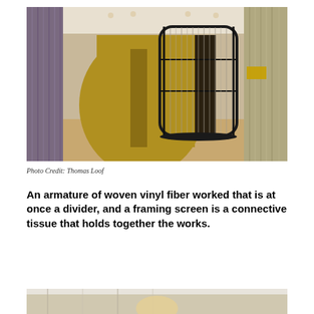[Figure (photo): Interior gallery space with a large woven vinyl fiber screen/divider structure in a black metal frame, with yellowish-green curved wall panel in background and fiber/reed wall panels on left and right sides]
Photo Credit: Thomas Loof
An armature of woven vinyl fiber worked that is at once a divider, and a framing screen is a connective tissue that holds together the works.
[Figure (photo): Partial view of another interior gallery image, cropped at bottom of page]